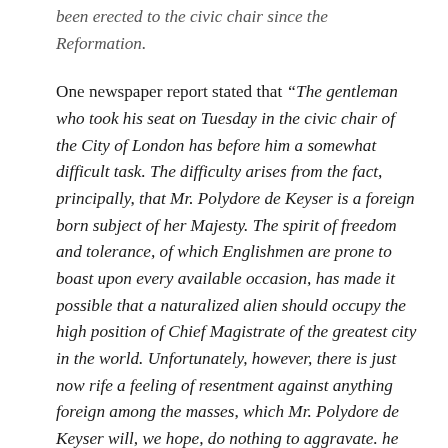been erected to the civic chair since the Reformation.
One newspaper report stated that “The gentleman who took his seat on Tuesday in the civic chair of the City of London has before him a somewhat difficult task. The difficulty arises from the fact, principally, that Mr. Polydore de Keyser is a foreign born subject of her Majesty. The spirit of freedom and tolerance, of which Englishmen are prone to boast upon every available occasion, has made it possible that a naturalized alien should occupy the high position of Chief Magistrate of the greatest city in the world. Unfortunately, however, there is just now rife a feeling of resentment against anything foreign among the masses, which Mr. Polydore de Keyser will, we hope, do nothing to aggravate. he has hitherto demeaned himself under inquisitiveness of a peculiarly active kind so wisely and so well that we may safely give him credit for sufficient tacticionaly discretion to sail the civic ship safely and unimpaired through the troubled waters into which, we fear, she is destined to pass before the expiry of his term of office at the last.